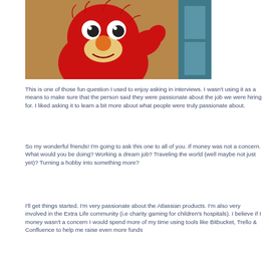[Figure (photo): Photo of Elmo (red Sesame Street muppet) waving, in front of a wooden background with a teal/blue door frame visible on the right]
This is one of those fun question I used to enjoy asking in interviews.  I wasn't using it as a means to make sure that the person said they were passionate about the job we were hiring for.  I liked asking it to learn a bit more about what people were truly passionate about.
So my wonderful friends!  I'm going to ask this one to all of you.  If money was not a concern.  What would you be doing?  Working a dream job? Traveling the world (well maybe not just yet)? Turning a hobby into something more?
I'll get things started.  I'm very passionate about the Atlassian products.  I'm also very involved in the Extra Life community (i.e charity gaming for children's hospitals).  I believe if I money wasn't a concern I would spend more of my time using tools like Bitbucket, Trello & Confluence to help me raise even more funds